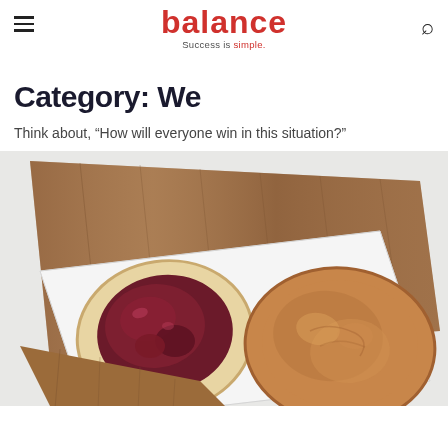balance — Success is simple.
Category: We
Think about, “How will everyone win in this situation?”
[Figure (photo): Overhead photo of two open-faced bread halves on a white rectangular plate atop a wooden cutting board: one half spread with dark berry jam, the other with peanut butter. The plate sits at an angle on the wooden board against a light grey background.]